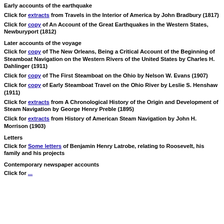Early accounts of the earthquake
Click for extracts from Travels in the Interior of America by John Bradbury (1817)
Click for copy of An Account of the Great Earthquakes in the Western States, Newburyport (1812)
Later accounts of the voyage
Click for copy of The New Orleans, Being a Critical Account of the Beginning of Steamboat Navigation on the Western Rivers of the United States by Charles H. Dahlinger (1911)
Click for copy of The First Steamboat on the Ohio by Nelson W. Evans (1907)
Click for copy of Early Steamboat Travel on the Ohio River by Leslie S. Henshaw (1911)
Click for extracts from A Chronological History of the Origin and Development of Steam Navigation by George Henry Preble (1895)
Click for extracts from History of American Steam Navigation by John H. Morrison (1903)
Letters
Click for Some letters of Benjamin Henry Latrobe, relating to Roosevelt, his family and his projects
Contemporary newspaper accounts
Click for ...